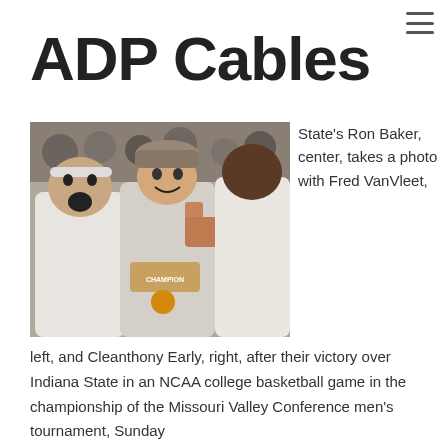≡
ADP Cables
[Figure (photo): Basketball players taking a selfie after a championship victory, wearing white t-shirts, celebrating with crowd in background]
State's Ron Baker, center, takes a photo with Fred VanVleet, left, and Cleanthony Early, right, after their victory over Indiana State in an NCAA college basketball game in the championship of the Missouri Valley Conference men's tournament, Sunday